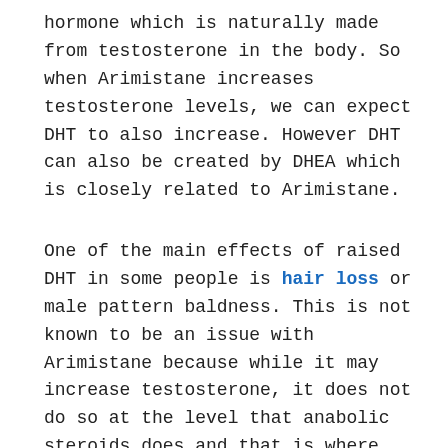hormone which is naturally made from testosterone in the body. So when Arimistane increases testosterone levels, we can expect DHT to also increase. However DHT can also be created by DHEA which is closely related to Arimistane.
One of the main effects of raised DHT in some people is hair loss or male pattern baldness. This is not known to be an issue with Arimistane because while it may increase testosterone, it does not do so at the level that anabolic steroids does and that is where you suffer the androgenic side effects like hair loss. So Arimistane is not a DHT blocker – it is an estrogen blocker.